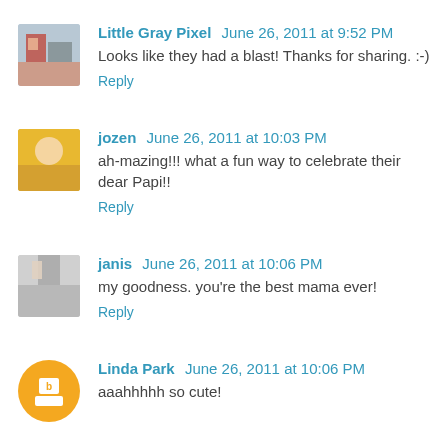Little Gray Pixel June 26, 2011 at 9:52 PM
Looks like they had a blast! Thanks for sharing. :-)
Reply
jozen June 26, 2011 at 10:03 PM
ah-mazing!!! what a fun way to celebrate their dear Papi!!
Reply
janis June 26, 2011 at 10:06 PM
my goodness. you're the best mama ever!
Reply
Linda Park June 26, 2011 at 10:06 PM
aaahhhhh so cute!